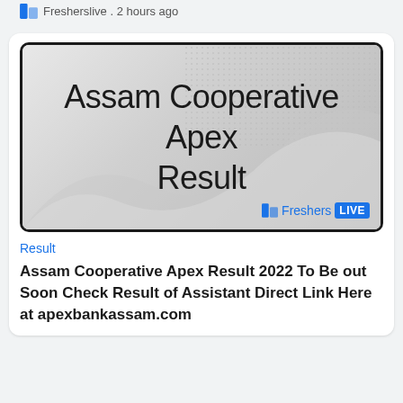Fresherslive . 2 hours ago
[Figure (illustration): Thumbnail image with text 'Assam Cooperative Apex Result' on a grey gradient background with wave design and FreshersLIVE logo]
Result
Assam Cooperative Apex Result 2022 To Be out Soon Check Result of Assistant Direct Link Here at apexbankassam.com